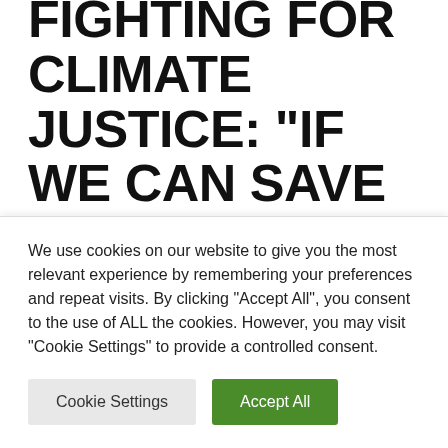GRETA THUNBERG IS FIGHTING FOR CLIMATE JUSTICE: “IF WE CAN SAVE THE BANKS, WE CAN SAVE
We use cookies on our website to give you the most relevant experience by remembering your preferences and repeat visits. By clicking “Accept All”, you consent to the use of ALL the cookies. However, you may visit "Cookie Settings" to provide a controlled consent.